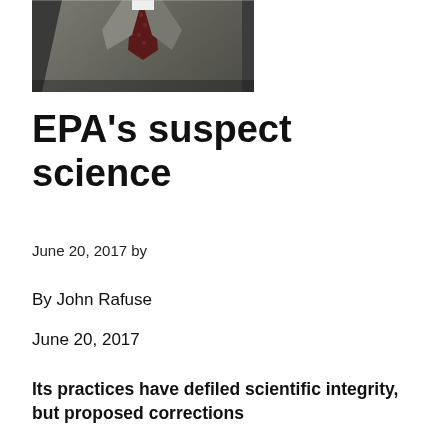[Figure (photo): Partial photo of a man in a grey suit with a dark red patterned tie, cropped showing torso/chest area]
EPA's suspect science
June 20, 2017 by
By John Rafuse
June 20, 2017
Its practices have defiled scientific integrity, but proposed corrections